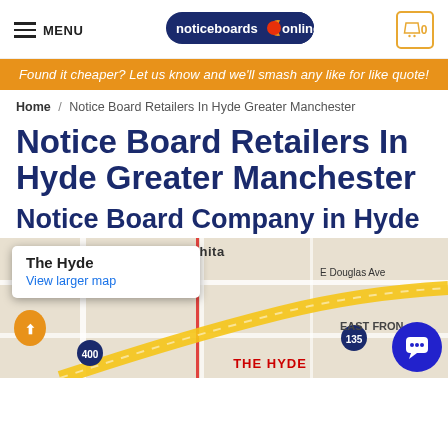MENU | noticeboards online | 0
Found it cheaper? Let us know and we'll smash any like for like quote!
Home / Notice Board Retailers In Hyde Greater Manchester
Notice Board Retailers In Hyde Greater Manchester
Notice Board Company in Hyde
[Figure (map): Google map showing The Hyde area in Wichita with streets, including E Douglas Ave, EAST FRONT label, route 135, route 400, THE HYDE label in red, and a popup tooltip showing 'The Hyde' with 'View larger map' link.]